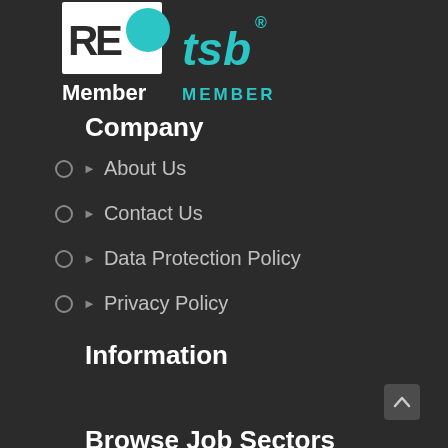[Figure (logo): REC Member Company and TSB Member logos side by side on dark background]
Company
About Us
Contact Us
Data Protection Policy
Privacy Policy
Information
CSR News
Employers
Candidates
Clients
Browse Job Sectors